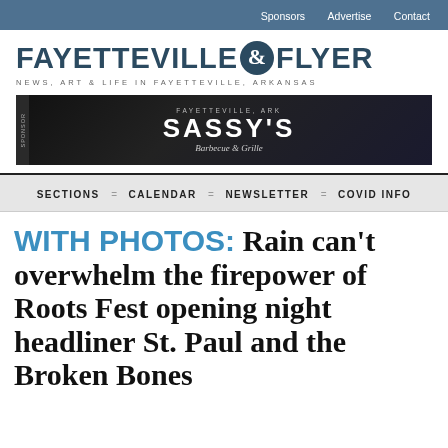Sponsors   Advertise   Contact
[Figure (logo): Fayetteville Flyer logo with stylized ampersand icon. Text reads FAYETTEVILLE & FLYER. Subtitle: NEWS, ART & LIFE IN FAYETTEVILLE, ARKANSAS]
[Figure (photo): Sponsor banner advertisement for Sassy's Barbecue & Grille, Fayetteville AR. Dark background with large white bold text SASSY'S and italic subtitle Barbecue & Grille.]
SECTIONS = CALENDAR = NEWSLETTER = COVID INFO
WITH PHOTOS: Rain can't overwhelm the firepower of Roots Fest opening night headliner St. Paul and the Broken Bones